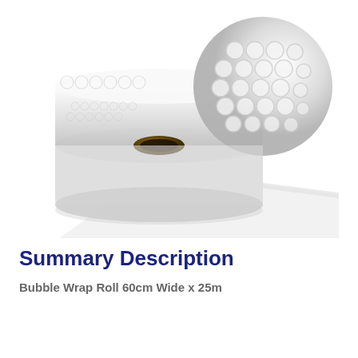[Figure (photo): A roll of clear bubble wrap packaging material lying on its side with the bubble side visible on the right end, and the flat smooth side unrolling to the right. The roll has a brown cardboard core visible from the front.]
Summary Description
Bubble Wrap Roll 60cm Wide x 25m